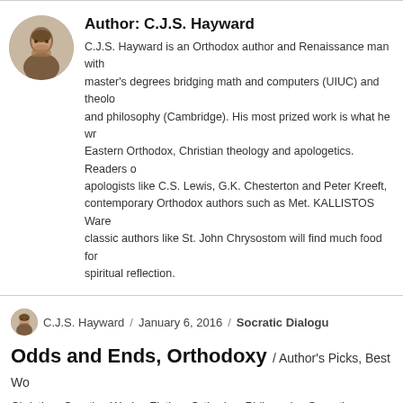[Figure (photo): Circular avatar photo of C.J.S. Hayward, a bearded man]
Author: C.J.S. Hayward
C.J.S. Hayward is an Orthodox author and Renaissance man with master's degrees bridging math and computers (UIUC) and theology and philosophy (Cambridge). His most prized work is what he writes for Eastern Orthodox, Christian theology and apologetics. Readers of apologists like C.S. Lewis, G.K. Chesterton and Peter Kreeft, contemporary Orthodox authors such as Met. KALLISTOS Ware, and classic authors like St. John Chrysostom will find much food for spiritual reflection.
[Figure (photo): Small circular avatar photo of C.J.S. Hayward]
C.J.S. Hayward / January 6, 2016 / Socratic Dialogu...
Odds and Ends, Orthodoxy / Author's Picks, Best Wo...
Christian, Creative Works, Fiction, Orthodox, Philosophy, Socratic Dialogue, Theology, Wisdom Literature